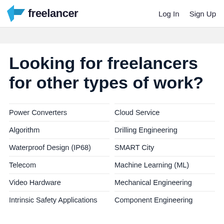freelancer   Log In   Sign Up
Looking for freelancers for other types of work?
Power Converters
Cloud Service
Algorithm
Drilling Engineering
Waterproof Design (IP68)
SMART City
Telecom
Machine Learning (ML)
Video Hardware
Mechanical Engineering
Intrinsic Safety Applications
Component Engineering